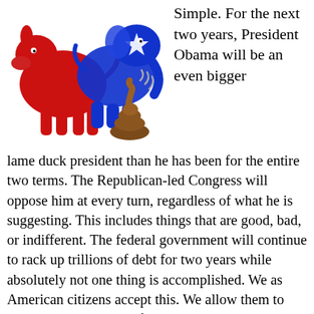[Figure (illustration): Cartoon illustration of a red donkey (Democrat symbol) and a blue elephant (Republican symbol) fighting, with a cartoon pile of poop next to them.]
Simple. For the next two years, President Obama will be an even bigger lame duck president than he has been for the entire two terms. The Republican-led Congress will oppose him at every turn, regardless of what he is suggesting. This includes things that are good, bad, or indifferent. The federal government will continue to rack up trillions of debt for two years while absolutely not one thing is accomplished. We as American citizens accept this. We allow them to continue on that path of cashing their checks and mutually destroying the possibility of any positive or even negative change in our country. At no other level of business would such an outcome allow people to keep their jobs; only in the government will you witness such atrocities. Now, some Republicans would happily point out that accomplishing nothing for two years is good news, because an Obama doing nothing is better than an Oba...